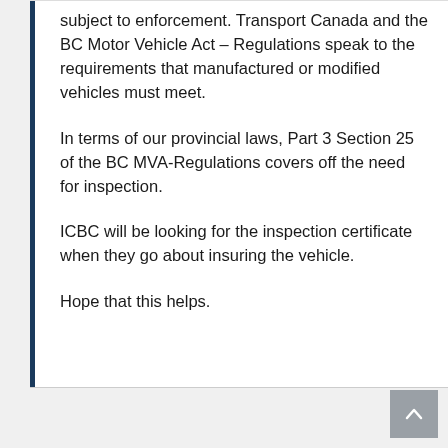subject to enforcement. Transport Canada and the BC Motor Vehicle Act – Regulations speak to the requirements that manufactured or modified vehicles must meet.
In terms of our provincial laws, Part 3 Section 25 of the BC MVA-Regulations covers off the need for inspection.
ICBC will be looking for the inspection certificate when they go about insuring the vehicle.
Hope that this helps.